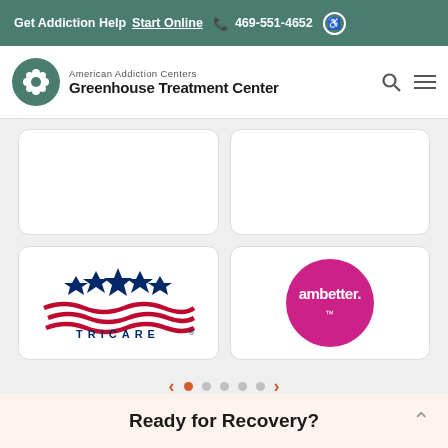Get Addiction Help  Start Online  469-551-4652
[Figure (logo): American Addiction Centers - Greenhouse Treatment Center logo with green circle flower icon]
[Figure (photo): Two empty white card placeholders in a carousel grid]
[Figure (logo): TRICARE insurance logo - blue star with red wave stripes]
[Figure (logo): Ambetter insurance logo - pink circle with white text]
Ready for Recovery?